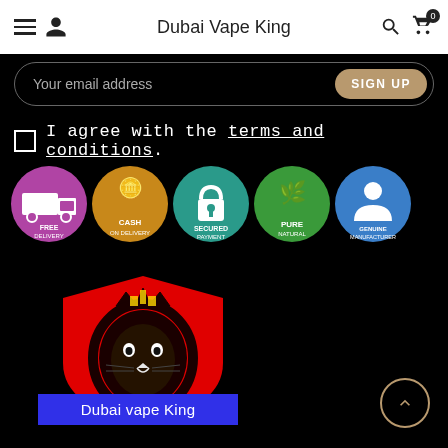Dubai Vape King
Your email address  SIGN UP
I agree with the terms and conditions.
[Figure (logo): Five circular badges: FREE DELIVERY (purple), CASH ON DELIVERY (yellow/gold), SECURED PAYMENT (teal), PURE NATURAL (green), GENUINE MANUFACTURER (blue)]
[Figure (logo): Dubai Vape King logo: red shield with black lion wearing crown, text 'Dubai vape King' on blue banner below]
Dubai vape King